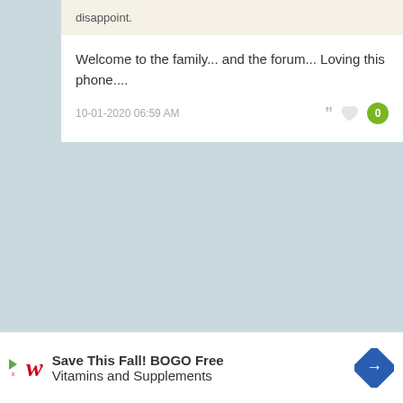disappoint.
Welcome to the family... and the forum... Loving this phone....
10-01-2020 06:59 AM
[Figure (screenshot): Walgreens advertisement banner: Save This Fall! BOGO Free Vitamins and Supplements]
Save This Fall! BOGO Free Vitamins and Supplements